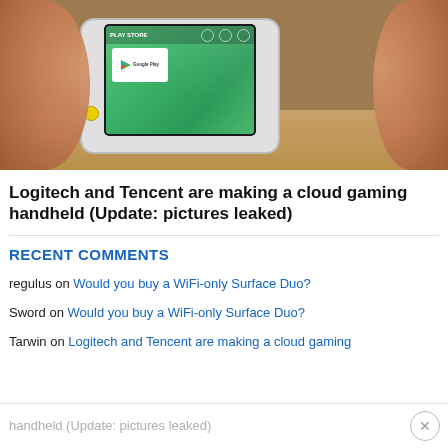[Figure (photo): Hands holding a white cloud gaming handheld device with a touchscreen showing Google Play store and gaming app icons including Xbox and others, resting on a wooden surface.]
Logitech and Tencent are making a cloud gaming handheld (Update: pictures leaked)
RECENT COMMENTS
regulus on Would you buy a WiFi-only Surface Duo?
Sword on Would you buy a WiFi-only Surface Duo?
Tarwin on Logitech and Tencent are making a cloud gaming handheld (Update: pictures leaked)